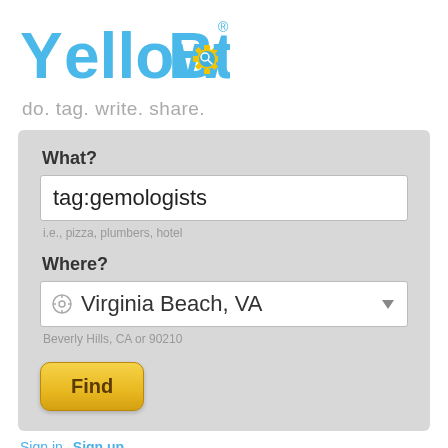[Figure (logo): YellowBot logo with yellow gear and blue/light-blue text]
do. tag. write. share.
What?
tag:gemologists
i.e., pizza, plumbers, hotel
Where?
Virginia Beach, VA
Beverly Hills, CA or 90210
Find
Sign in  Sign up
Showing gemologists
1  2  3  Next